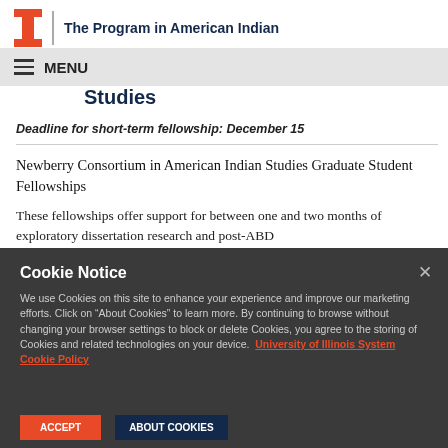The Program in American Indian Studies
MENU
Studies
Deadline for short-term fellowship: December 15
Newberry Consortium in American Indian Studies Graduate Student Fellowships
These fellowships offer support for between one and two months of exploratory dissertation research and post-ABD
Cookie Notice
We use Cookies on this site to enhance your experience and improve our marketing efforts. Click on “About Cookies” to learn more. By continuing to browse without changing your browser settings to block or delete Cookies, you agree to the storing of Cookies and related technologies on your device.
University of Illinois System Cookie Policy